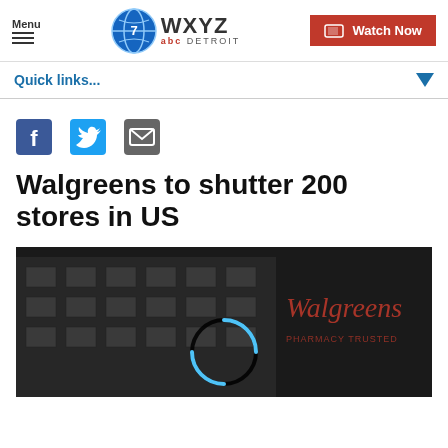Menu | WXYZ abc DETROIT | Watch Now
Quick links...
[Figure (other): Social share icons: Facebook, Twitter, Email]
Walgreens to shutter 200 stores in US
[Figure (photo): Dark photo of Walgreens store exterior with loading spinner overlay]